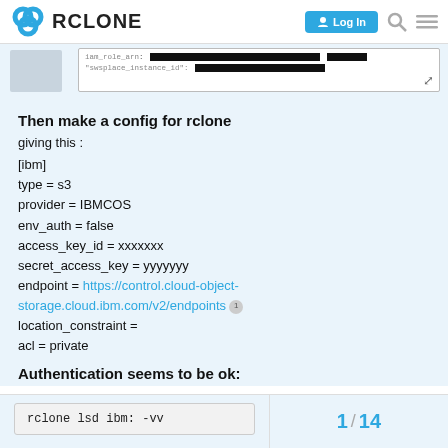RCLONE | Log In
[Figure (screenshot): Redacted code snippet showing JSON-like content with black redaction bars over sensitive values]
Then make a config for rclone
giving this :
[ibm]
type = s3
provider = IBMCOS
env_auth = false
access_key_id = xxxxxxx
secret_access_key = yyyyyyy
endpoint = https://control.cloud-object-storage.cloud.ibm.com/v2/endpoints
location_constraint =
acl = private
Authentication seems to be ok:
rclone lsd ibm: -vv
1 / 14